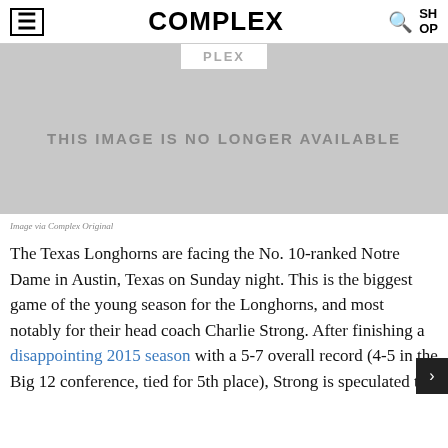COMPLEX
[Figure (other): Image placeholder with PLEX tab and text: THIS IMAGE IS NO LONGER AVAILABLE]
Image via Complex Original
The Texas Longhorns are facing the No. 10-ranked Notre Dame in Austin, Texas on Sunday night. This is the biggest game of the young season for the Longhorns, and most notably for their head coach Charlie Strong. After finishing a disappointing 2015 season with a 5-7 overall record (4-5 in the Big 12 conference, tied for 5th place), Strong is speculated to